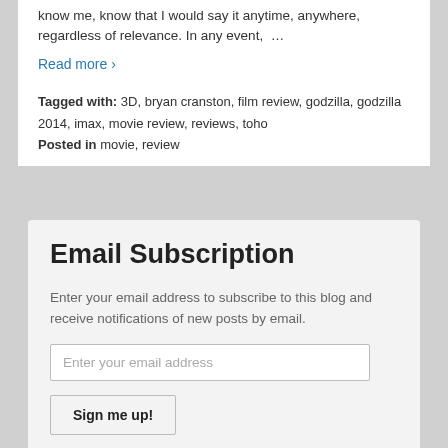know me, know that I would say it anytime, anywhere, regardless of relevance. In any event, …
Read more ›
Tagged with: 3D, bryan cranston, film review, godzilla, godzilla 2014, imax, movie review, reviews, toho
Posted in movie, review
Email Subscription
Enter your email address to subscribe to this blog and receive notifications of new posts by email.
Enter your email address
Sign me up!
Join 1,475 other followers